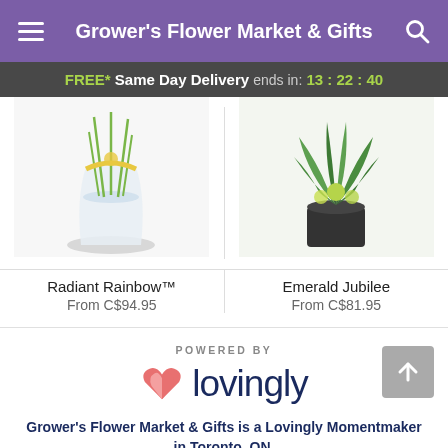Grower's Flower Market & Gifts
FREE* Same Day Delivery ends in: 13:22:40
[Figure (photo): Product photo of Radiant Rainbow floral arrangement in a clear vase with yellow ribbon]
Radiant Rainbow™
From C$94.95
[Figure (photo): Product photo of Emerald Jubilee plant arrangement in a dark pot with ferns]
Emerald Jubilee
From C$81.95
[Figure (logo): Lovingly logo with pink heart and navy text]
POWERED BY
Grower's Flower Market & Gifts is a Lovingly Momentmaker in Toronto, ON.
Buying local matters. Discover how Lovingly is committed to strengthening relationships by helping local florists market, sell, and deliver their floral designs online.